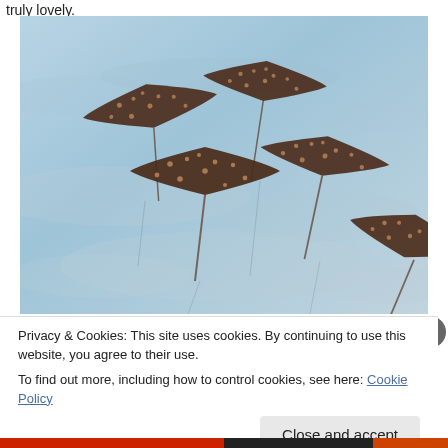truly lovely.
[Figure (photo): Underwater photograph of a group of spotted eagle rays swimming over a sandy ocean floor. Several rays are visible with dark bodies covered in white spots and long whip-like tails, viewed from above.]
Privacy & Cookies: This site uses cookies. By continuing to use this website, you agree to their use.
To find out more, including how to control cookies, see here: Cookie Policy